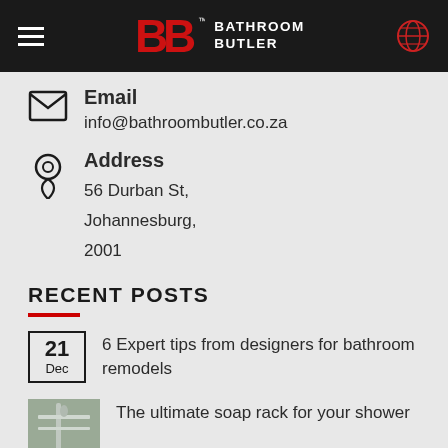Bathroom Butler — navigation header with logo and globe icon
Email
info@bathroombutler.co.za
Address
56 Durban St, Johannesburg, 2001
RECENT POSTS
21 Dec — 6 Expert tips from designers for bathroom remodels
The ultimate soap rack for your shower